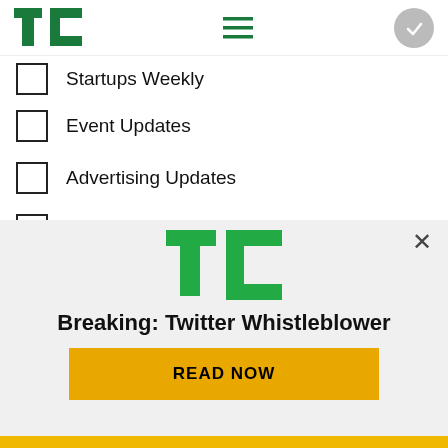TechCrunch
Startups Weekly
Event Updates
Advertising Updates
TechCrunch+ Announcements
TechCrunch+ Events
TechCrunch+ Roundup
Email *
Subscribe
[Figure (logo): TechCrunch TC logo in green]
Breaking: Twitter Whistleblower
READ NOW